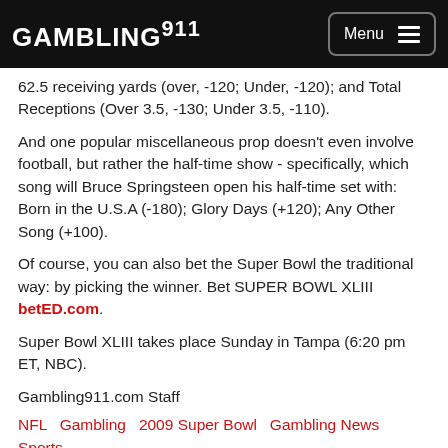GAMBLING911 Menu
62.5 receiving yards (over, -120; Under, -120); and Total Receptions (Over 3.5, -130; Under 3.5, -110).
And one popular miscellaneous prop doesn't even involve football, but rather the half-time show - specifically, which song will Bruce Springsteen open his half-time set with: Born in the U.S.A (-180); Glory Days (+120); Any Other Song (+100).
Of course, you can also bet the Super Bowl the traditional way: by picking the winner. Bet SUPER BOWL XLIII betED.com.
Super Bowl XLIII takes place Sunday in Tampa (6:20 pm ET, NBC).
Gambling911.com Staff
NFL  Gambling  2009 Super Bowl  Gambling News  Sports